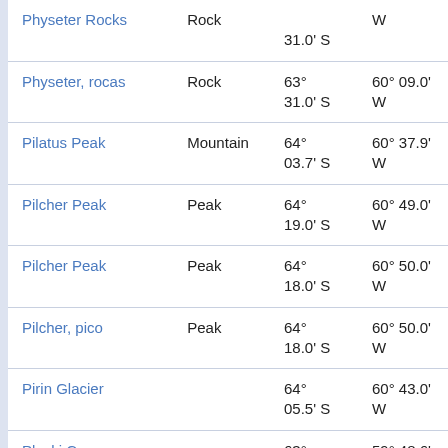| Name | Type | Latitude | Longitude |
| --- | --- | --- | --- |
| Physeter Rocks | Rock | 31.0' S | W |
| Physeter, rocas | Rock | 63° 31.0' S | 60° 09.0' W |
| Pilatus Peak | Mountain | 64° 03.7' S | 60° 37.9' W |
| Pilcher Peak | Peak | 64° 19.0' S | 60° 49.0' W |
| Pilcher Peak | Peak | 64° 18.0' S | 60° 50.0' W |
| Pilcher, pico | Peak | 64° 18.0' S | 60° 50.0' W |
| Pirin Glacier |  | 64° 05.5' S | 60° 43.0' W |
| Ploski Cove |  | 63° 33.2' S | 59° 48.6' W |
|  |  | 64° | 61° |